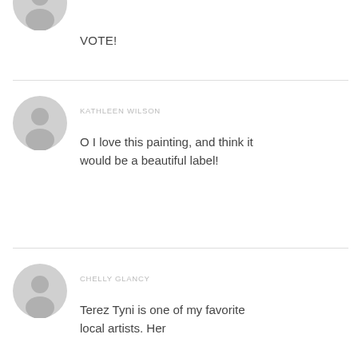[Figure (illustration): Grey default user avatar icon (partially visible at top)]
VOTE!
[Figure (illustration): Grey default user avatar icon for Kathleen Wilson]
KATHLEEN WILSON
O I love this painting, and think it would be a beautiful label!
[Figure (illustration): Grey default user avatar icon for Chelly Glancy]
CHELLY GLANCY
Terez Tyni is one of my favorite local artists. Her